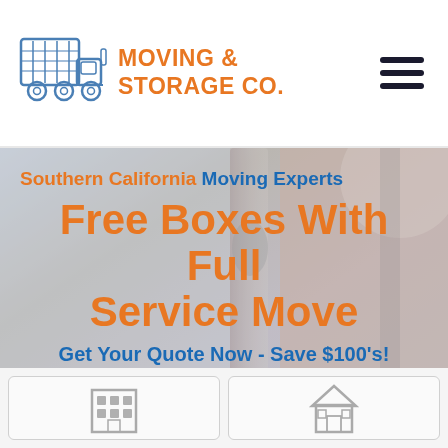[Figure (logo): Moving truck logo icon in blue outline style]
MOVING & STORAGE CO.
[Figure (other): Hamburger menu icon (three horizontal bars)]
[Figure (photo): Background photo of a moving truck cab/vehicle interior, blurred with color overlay]
Southern California Moving Experts
Free Boxes With Full Service Move
Get Your Quote Now - Save $100's!
Select Your Move Type
[Figure (illustration): Commercial/office building icon in gray outline style]
[Figure (illustration): House/residential building icon in gray outline style]